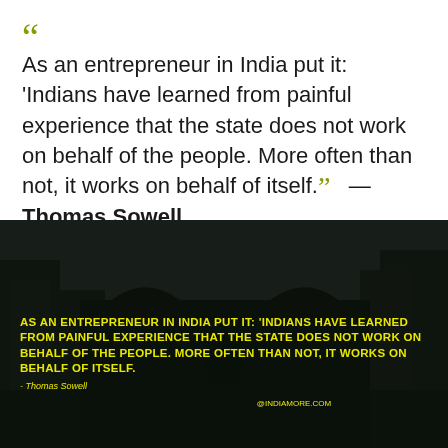“ As an entrepreneur in India put it: ‘Indians have learned from painful experience that the state does not work on behalf of the people. More often than not, it works on behalf of itself.” — Thomas Sowell
[Figure (photo): Dark dramatic image of a figure with large wings standing in a dark ruined city street. Yellow bold text overlay repeats the Thomas Sowell quote in all caps. Attribution to Thomas Sowell below. Small watermark text at bottom center.]